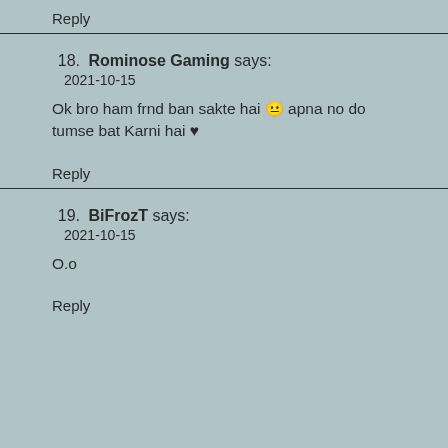Reply
18. Rominose Gaming says:
2021-10-15

Ok bro ham frnd ban sakte hai 😬 apna no do tumse bat Karni hai ♥
Reply
19. BiFrozT says:
2021-10-15

O.o
Reply